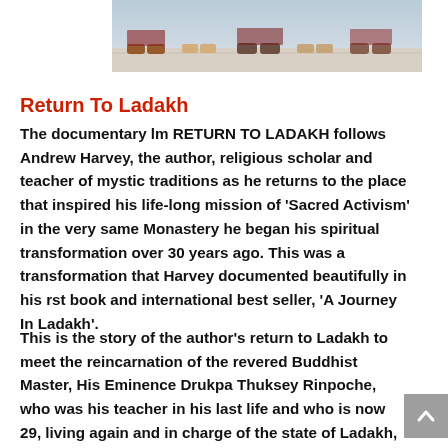[Figure (photo): Partial photo showing feet/shoes of people standing on a light-colored surface, cropped at top of page]
Return To Ladakh
The documentary lm RETURN TO LADAKH follows Andrew Harvey, the author, religious scholar and teacher of mystic traditions as he returns to the place that inspired his life-long mission of 'Sacred Activism' in the very same Monastery he began his spiritual transformation over 30 years ago. This was a transformation that Harvey documented beautifully in his rst book and international best seller, 'A Journey In Ladakh'.
This is the story of the author's return to Ladakh to meet the reincarnation of the revered Buddhist Master, His Eminence Drukpa Thuksey Rinpoche, who was his teacher in his last life and who is now 29, living again and in charge of the state of Ladakh, which he governs